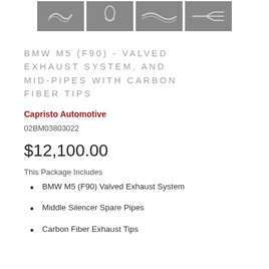[Figure (photo): Four thumbnail images showing exhaust system components on dark/gray backgrounds]
BMW M5 (F90) - VALVED EXHAUST SYSTEM, AND MID-PIPES WITH CARBON FIBER TIPS
Capristo Automotive
02BM03803022
$12,100.00
This Package Includes
BMW M5 (F90) Valved Exhaust System
Middle Silencer Spare Pipes
Carbon Fiber Exhaust Tips